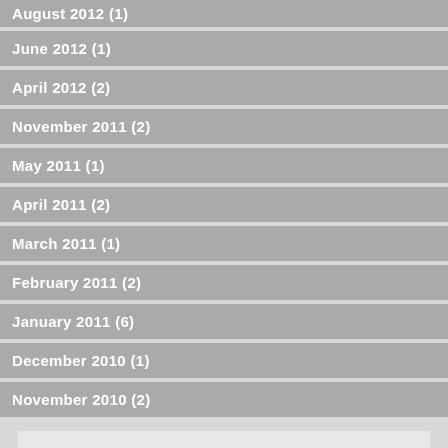August 2012 (1)
June 2012 (1)
April 2012 (2)
November 2011 (2)
May 2011 (1)
April 2011 (2)
March 2011 (1)
February 2011 (2)
January 2011 (6)
December 2010 (1)
November 2010 (2)
TAGS
boy
who
saw
solomon
creed